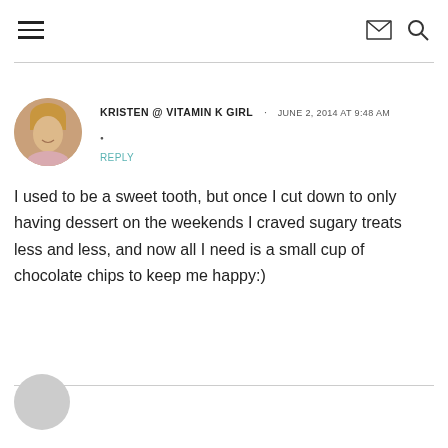≡  ✉  🔍
KRISTEN @ VITAMIN K GIRL · JUNE 2, 2014 AT 9:48 AM
• REPLY
I used to be a sweet tooth, but once I cut down to only having dessert on the weekends I craved sugary treats less and less, and now all I need is a small cup of chocolate chips to keep me happy:)